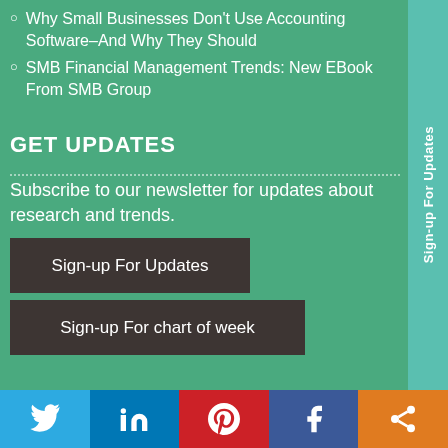Why Small Businesses Don't Use Accounting Software–And Why They Should
SMB Financial Management Trends: New EBook From SMB Group
GET UPDATES
Subscribe to our newsletter for updates about research and trends.
Sign-up For Updates
Sign-up For chart of week
[Figure (other): Social media sharing bar with Twitter, LinkedIn, Pinterest, Facebook, and share icons]